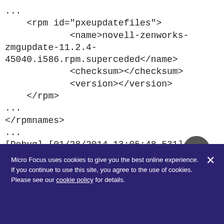...
    <rpm id="pxeupdatefiles">
            <name>novell-zenworks-zmgupdate-11.2.4-45040.i586.rpm.superceded</name>
            <checksum></checksum>
            <version></version>
    </rpm>
...
</rpmnames>
...
[Debug] [01/28/2014 13:05:48.531] []
[5704] [ZenworksAgent] [200]
[ISSMainHandler:InstallSatelliteServer]
Micro Focus uses cookies to give you the best online experience. If you continue to use this site, you agree to the use of cookies. Please see our cookie policy for details.